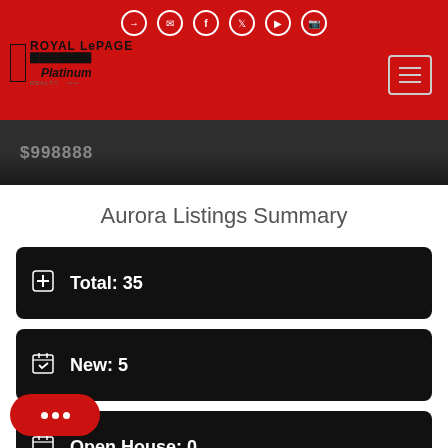Royal LePage Platinum Realty
[Figure (screenshot): Dark property listing image strip showing price $998888]
Aurora Listings Summary
Total: 35
New: 5
Open House: 0